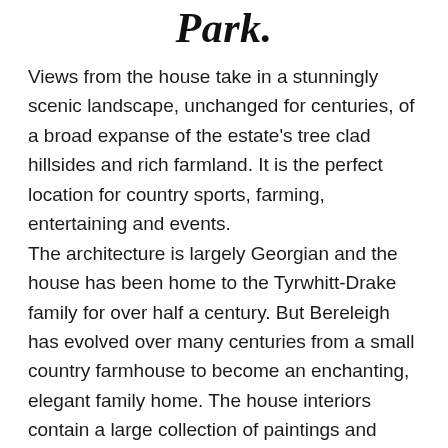Park.
Views from the house take in a stunningly scenic landscape, unchanged for centuries, of a broad expanse of the estate's tree clad hillsides and rich farmland. It is the perfect location for country sports, farming, entertaining and events. The architecture is largely Georgian and the house has been home to the Tyrwhitt-Drake family for over half a century. But Bereleigh has evolved over many centuries from a small country farmhouse to become an enchanting, elegant family home. The house interiors contain a large collection of paintings and period furniture.